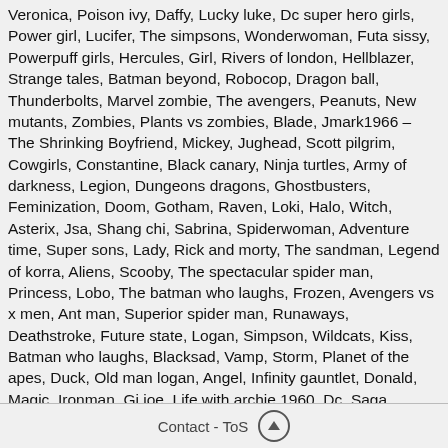Veronica, Poison ivy, Daffy, Lucky luke, Dc super hero girls, Power girl, Lucifer, The simpsons, Wonderwoman, Futa sissy, Powerpuff girls, Hercules, Girl, Rivers of london, Hellblazer, Strange tales, Batman beyond, Robocop, Dragon ball, Thunderbolts, Marvel zombie, The avengers, Peanuts, New mutants, Zombies, Plants vs zombies, Blade, Jmark1966 – The Shrinking Boyfriend, Mickey, Jughead, Scott pilgrim, Cowgirls, Constantine, Black canary, Ninja turtles, Army of darkness, Legion, Dungeons dragons, Ghostbusters, Feminization, Doom, Gotham, Raven, Loki, Halo, Witch, Asterix, Jsa, Shang chi, Sabrina, Spiderwoman, Adventure time, Super sons, Lady, Rick and morty, The sandman, Legend of korra, Aliens, Scooby, The spectacular spider man, Princess, Lobo, The batman who laughs, Frozen, Avengers vs x men, Ant man, Superior spider man, Runaways, Deathstroke, Future state, Logan, Simpson, Wildcats, Kiss, Batman who laughs, Blacksad, Vamp, Storm, Planet of the apes, Duck, Old man logan, Angel, Infinity gauntlet, Donald, Magic, Ironman, Gi joe, Life with archie 1960, Dc, Saga, Romance, Worlds finest, Incredible hulk, Amazing spider, Hyperion, X factor, Batman year one, Inhumans, Punishment school, Sonic the hegdehog fallout, Blue beetle, The mask, Teen titans go, Superman wonder woman, Killer, Gwen, Preacher, Sherlock, Black, The new 52, Ultron, Doctor, Gravity falls, Morbius, Spider man vs venom, Sweet,
Contact - ToS ↑